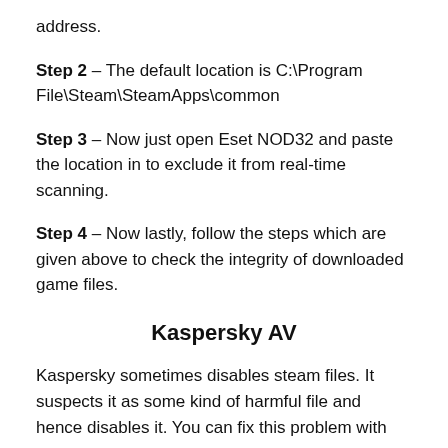address.
Step 2 – The default location is C:\Program File\Steam\SteamApps\common
Step 3 – Now just open Eset NOD32 and paste the location in to exclude it from real-time scanning.
Step 4 – Now lastly, follow the steps which are given above to check the integrity of downloaded game files.
Kaspersky AV
Kaspersky sometimes disables steam files. It suspects it as some kind of harmful file and hence disables it. You can fix this problem with some simple steps. Follow these steps –